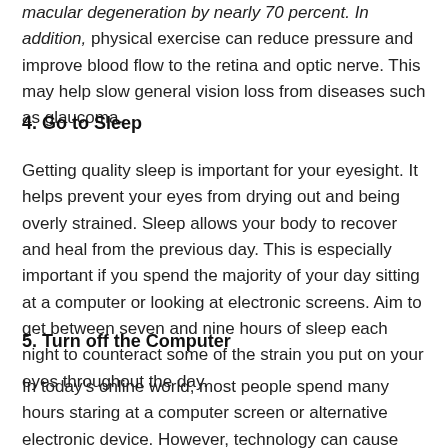macular degeneration by nearly 70 percent. In addition, physical exercise can reduce pressure and improve blood flow to the retina and optic nerve. This may help slow general vision loss from diseases such as glaucoma.
4. Go to Sleep
Getting quality sleep is important for your eyesight. It helps prevent your eyes from drying out and being overly strained. Sleep allows your body to recover and heal from the previous day. This is especially important if you spend the majority of your day sitting at a computer or looking at electronic screens. Aim to get between seven and nine hours of sleep each night to counteract some of the strain you put on your eyes throughout the day.
5. Turn off the Computer
In today's online world, most people spend many hours staring at a computer screen or alternative electronic device. However, technology can cause permanent damage to your eyes. Spending too much time staring at electronic screens can cause discomfort, including dry eyes and eye strain. For many people, it can even cause persistent tension headaches. Although in this day and